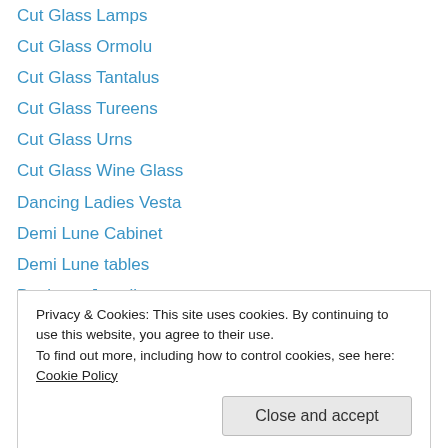Cut Glass Lamps
Cut Glass Ormolu
Cut Glass Tantalus
Cut Glass Tureens
Cut Glass Urns
Cut Glass Wine Glass
Dancing Ladies Vesta
Demi Lune Cabinet
Demi Lune tables
Designer Jewellery
desk
Desk – Kidney Bean
Desk – Knee Hole
Privacy & Cookies: This site uses cookies. By continuing to use this website, you agree to their use.
To find out more, including how to control cookies, see here: Cookie Policy
Desks – French